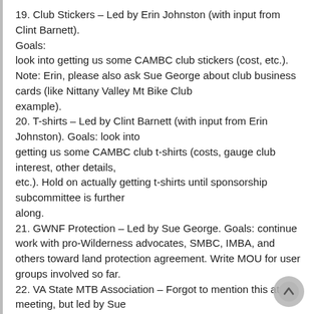19. Club Stickers – Led by Erin Johnston (with input from Clint Barnett). Goals: look into getting us some CAMBC club stickers (cost, etc.). Note: Erin, please also ask Sue George about club business cards (like Nittany Valley Mt Bike Club example).
20. T-shirts – Led by Clint Barnett (with input from Erin Johnston). Goals: look into getting us some CAMBC club t-shirts (costs, gauge club interest, other details, etc.). Hold on actually getting t-shirts until sponsorship subcommittee is further along.
21. GWNF Protection – Led by Sue George. Goals: continue work with pro-Wilderness advocates, SMBC, IMBA, and others toward land protection agreement. Write MOU for user groups involved so far.
22. VA State MTB Association – Forgot to mention this at meeting, but led by Sue George and Mike Smoot. Goals: Attend upcoming meeting to talk about